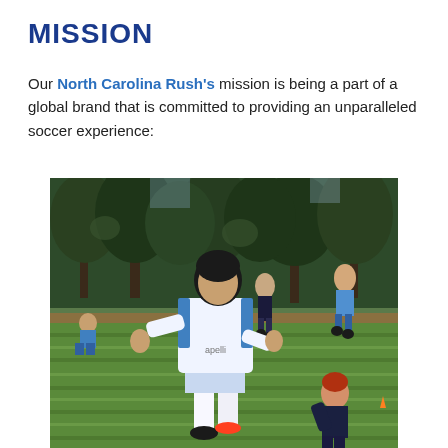MISSION
Our North Carolina Rush's mission is being a part of a global brand that is committed to providing an unparalleled soccer experience:
[Figure (photo): Young soccer player in white and blue uniform mid-action on green turf field, with other players and trees in background]